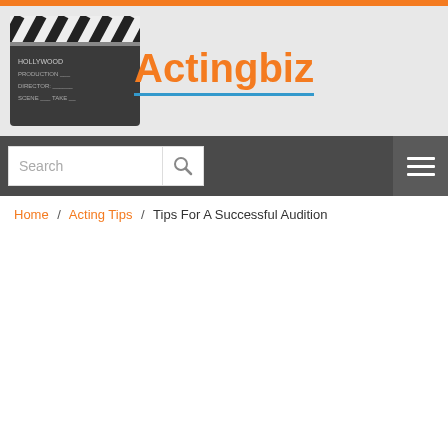[Figure (logo): Actingbiz website header with clapperboard illustration on the left and orange 'Actingbiz' logo text in the center]
[Figure (screenshot): Search bar with text input field and magnifying glass icon on dark gray background, with hamburger menu icon on the right]
Home / Acting Tips / Tips For A Successful Audition